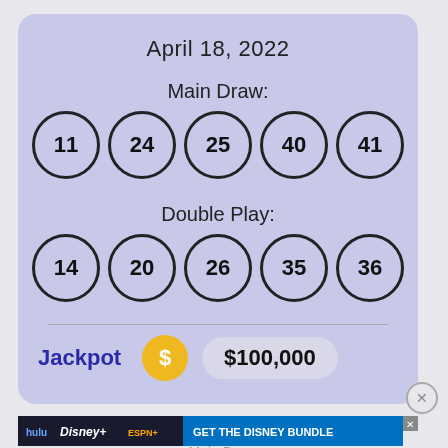April 18, 2022
Main Draw:
[Figure (infographic): Five lottery balls in circles showing numbers: 11, 24, 25, 40, 41]
Double Play:
[Figure (infographic): Five lottery balls in circles showing numbers: 14, 20, 26, 35, 36]
Jackpot  $100,000
[Figure (infographic): Disney Bundle advertisement banner: hulu, Disney+, ESPN+, GET THE DISNEY BUNDLE. Incl. Hulu (ad-supported) or Hulu (No Ads). Access content from each service separately. ©2021 Disney and its related entities]
Main Draw: